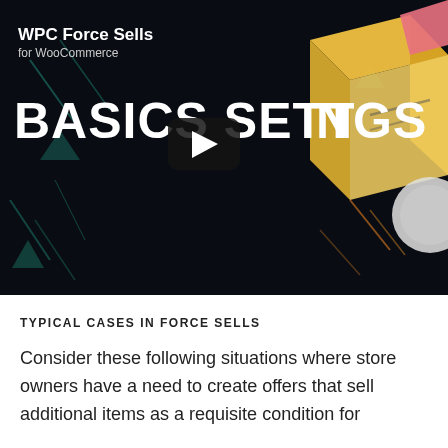[Figure (screenshot): Video thumbnail with dark background showing 'WPC Force Sells for WooCommerce' plugin logo and 'BASICS SETTINGS' text with a play button overlay in the center. A decorative 3D box illustration appears on the right side with colored diagonal line accents.]
TYPICAL CASES IN FORCE SELLS
Consider these following situations where store owners have a need to create offers that sell additional items as a requisite condition for